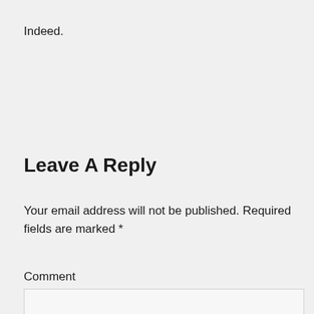Indeed.
Leave A Reply
Your email address will not be published. Required fields are marked *
Comment
[Figure (other): Empty comment text area input box]